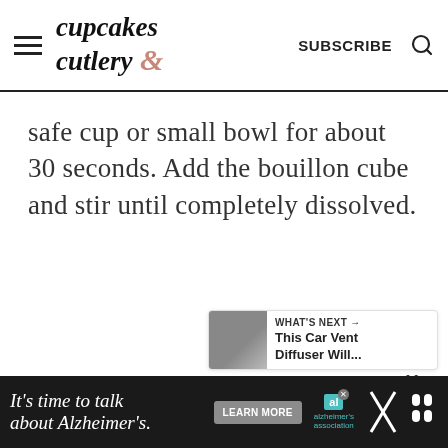cupcakes & cutlery — SUBSCRIBE
safe cup or small bowl for about 30 seconds. Add the bouillon cube and stir until completely dissolved.
[Figure (infographic): Heart/like button (teal circle with heart icon), like count '11', and share button (light circle with share icon)]
[Figure (infographic): What's Next promo card with thumbnail image, label 'WHAT'S NEXT →', and title 'This Car Vent Diffuser Will...']
[Figure (infographic): Advertisement banner: 'It's time to talk about Alzheimer's.' with LEARN MORE button and Alzheimer's Association logo]